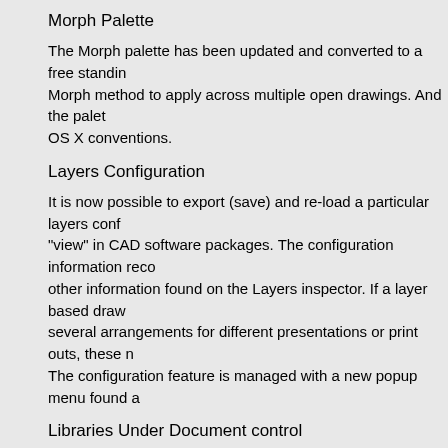Morph Palette
The Morph palette has been updated and converted to a free standing Morph method to apply across multiple open drawings. And the palette OS X conventions.
Layers Configuration
It is now possible to export (save) and re-load a particular layers conf "view" in CAD software packages. The configuration information reco other information found on the Layers inspector. If a layer based draw several arrangements for different presentations or print outs, these n The configuration feature is managed with a new popup menu found a
Libraries Under Document control
Improved user libraries. User library palettes now support OS X Revis palettes have all the title bar features found on the main drawing winc reverting the library, and frequent auto saves to avoid loss of data dur pause. There are also improvements for the user library main menu.
Support for Micro Font size
This version provide accurate typesetting for very small font sizes (for thereof). App Store versions of EazyDraw have had this upgrade in re primary Free Market release of EazyDraw 6. It is not available for Eaz
When working with micro font sizes control is needed for Text box pa for text box padding. This padding is a small margin (factory default v